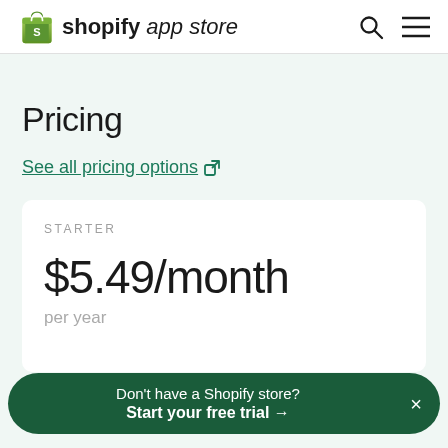shopify app store
Pricing
See all pricing options ↗
STARTER
$5.49/month
per year
Don't have a Shopify store? Start your free trial →